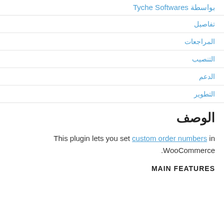بواسطة Tyche Softwares
تفاصيل
المراجعات
التنصيب
الدعم
التطوير
الوصف
This plugin lets you set custom order numbers in WooCommerce.
MAIN FEATURES